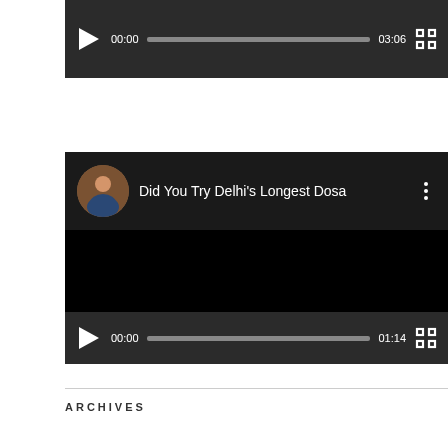[Figure (screenshot): Video player controls strip showing play button, 00:00 timestamp, progress bar, 03:06 duration, and fullscreen button on dark background]
[Figure (screenshot): Embedded video player with black screen showing title 'Did You Try Delhi's Longest Dosa' with avatar and three-dot menu, plus video controls showing play button, 00:00, progress bar, 01:14 duration, and fullscreen button]
ARCHIVES